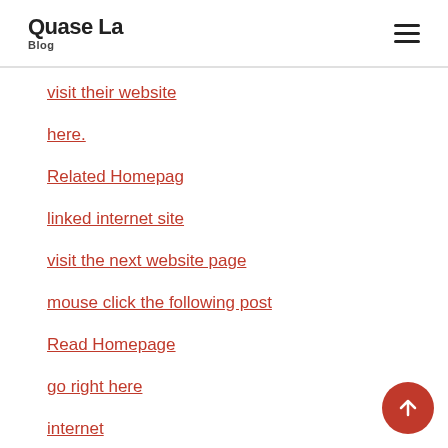Quase La Blog
visit their website
here.
Related Homepag
linked internet site
visit the next website page
mouse click the following post
Read Homepage
go right here
internet